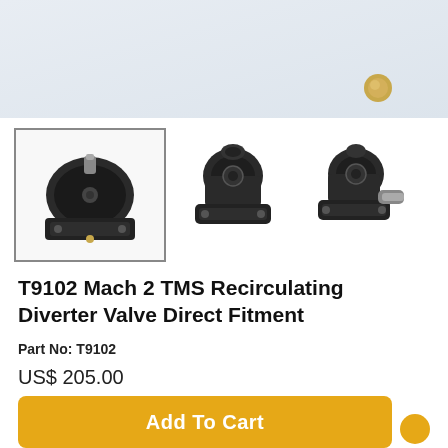[Figure (photo): Top portion of a product image showing a gold/brass rod or pipe component against a light background]
[Figure (photo): Three thumbnail images of T9102 Mach 2 TMS Recirculating Diverter Valve - black metal valve component shown from different angles. First thumbnail is selected with border.]
T9102 Mach 2 TMS Recirculating Diverter Valve Direct Fitment
Part No: T9102
US$ 205.00
1
[Figure (other): Orange circular button on right side]
Add To Cart